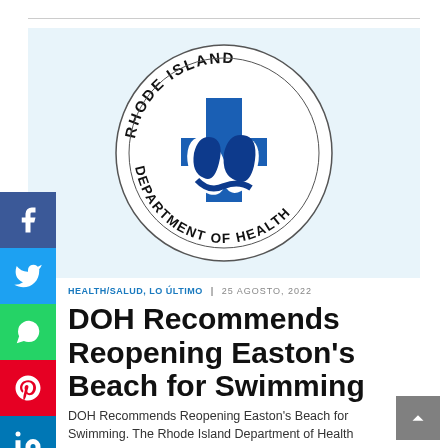[Figure (logo): Rhode Island Department of Health circular seal with blue cross and stylized figures in center]
HEALTH/SALUD, LO ÚLTIMO | 25 AGOSTO, 2022
DOH Recommends Reopening Easton's Beach for Swimming
DOH Recommends Reopening Easton's Beach for Swimming. The Rhode Island Department of Health